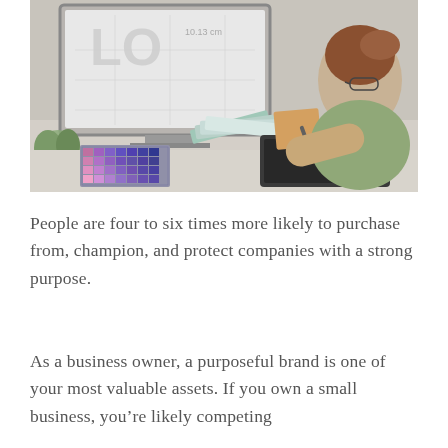[Figure (photo): A woman with red hair in a bun, wearing glasses and a green top, sits at a desk working on logo design on a computer monitor. She holds color swatches and uses a graphics tablet. Various color swatch books are spread on the desk along with a plant in the background.]
People are four to six times more likely to purchase from, champion, and protect companies with a strong purpose.
As a business owner, a purposeful brand is one of your most valuable assets. If you own a small business, you're likely competing